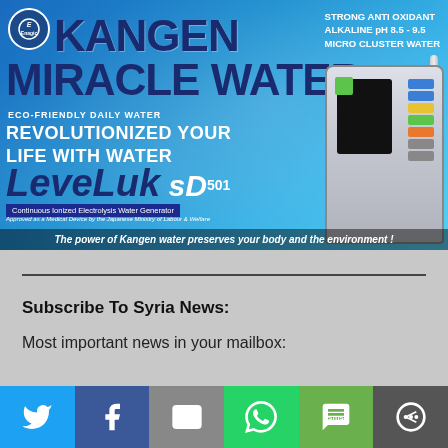[Figure (infographic): Kangen Miracle Water advertisement banner for Enagic LeveLuk SD501 water ionizer. Blue water background with product image. Text: KANGEN MIRACLE WATER, STRONG ANTI OXIDANT ALKALINE pH 8.5-9.5, MICRO CLUSTER WATER, ECO-FRIENDLY DAILY WATER, REVOLUTIONIZED YOUR LIFE WITH WATER, LeveLuk SD 501, Continuous Ionized Electrolysis Water Generator, Approved as a Medical Device by the Japanese Ministry of Labour & Welfare, The power of Kangen water preserves your body and the environment!]
Subscribe To Syria News:
Most important news in your mailbox:
[Figure (infographic): Social sharing buttons bar: Twitter (blue), Facebook (dark blue), Email (gray), WhatsApp (green), SMS (green), More (dark gray)]